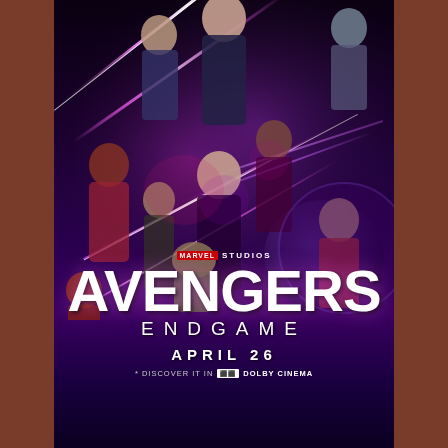[Figure (illustration): Avengers: Endgame movie poster featuring multiple Marvel superhero characters arranged in a dramatic composition against a dark purple/cosmic background with pink/purple laser beams crossing. Characters include Thor, Black Widow, War Machine, Okoye, Captain Marvel, Hawkeye, Rocket Raccoon, Ant-Man, Iron Man, and others. At the bottom: Marvel Studios logo, large AVENGERS text, ENDGAME subtitle, APRIL 26 release date, and 'Discover it in Dolby Cinema' tagline.]